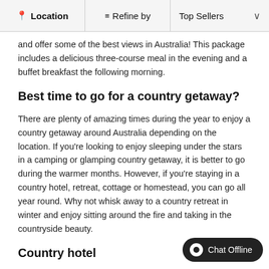📍 Location  ≡ Refine by  Top Sellers ∨
and offer some of the best views in Australia! This package includes a delicious three-course meal in the evening and a buffet breakfast the following morning.
Best time to go for a country getaway?
There are plenty of amazing times during the year to enjoy a country getaway around Australia depending on the location. If you're looking to enjoy sleeping under the stars in a camping or glamping country getaway, it is better to go during the warmer months. However, if you're staying in a country hotel, retreat, cottage or homestead, you can go all year round. Why not whisk away to a country retreat in winter and enjoy sitting around the fire and taking in the countryside beauty.
Country hotel
On RedBalloon, you'll find a variety of country hotels that are perfect for options for whisking your special someone away too. You'll find these